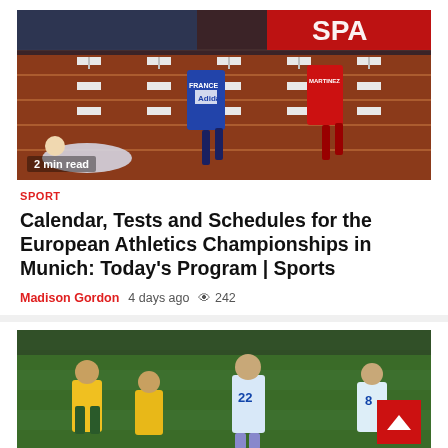[Figure (photo): Athletic hurdles race photo showing runners competing, one fallen athlete on the track, with a red track surface and hurdles visible. FRANCE and MARTINEZ bibs visible. Red oval stadium in the background.]
2 min read
SPORT
Calendar, Tests and Schedules for the European Athletics Championships in Munich: Today's Program | Sports
Madison Gordon  4 days ago  👁 242
[Figure (photo): Soccer/football match photo showing players from Brazil (yellow/green kits) and Argentina (white/light blue kits with number 22 and 8 visible) competing on a grass pitch.]